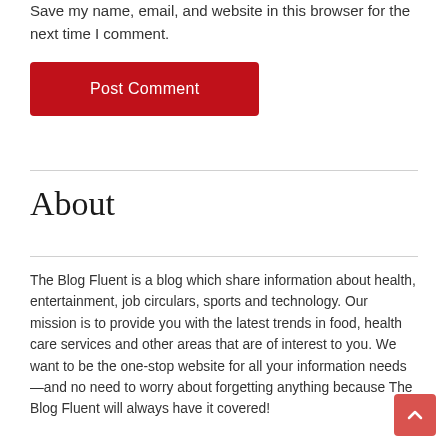Save my name, email, and website in this browser for the next time I comment.
Post Comment
About
The Blog Fluent is a blog which share information about health, entertainment, job circulars, sports and technology. Our mission is to provide you with the latest trends in food, health care services and other areas that are of interest to you. We want to be the one-stop website for all your information needs—and no need to worry about forgetting anything because The Blog Fluent will always have it covered!